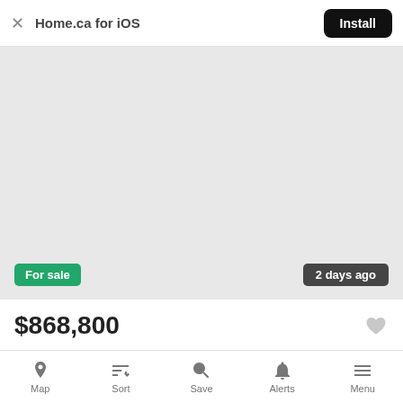Home.ca for iOS  Install
[Figure (screenshot): Light grey placeholder map area for a real estate listing]
For sale
2 days ago
$868,800
Map  Sort  Save  Alerts  Menu